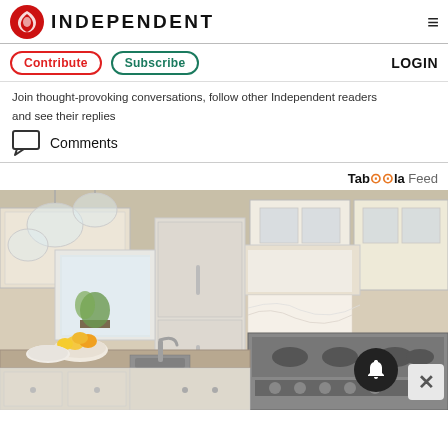INDEPENDENT
Contribute   Subscribe   LOGIN
Join thought-provoking conversations, follow other Independent readers and see their replies
Comments
Tabøøla Feed
[Figure (photo): Interior photo of a bright, elegant kitchen with white cabinetry, stainless steel appliances, granite countertops, hanging glass pendant lights, and a bowl of citrus fruit on the island.]